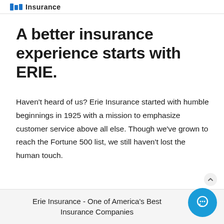Insurance
A better insurance experience starts with ERIE.
Haven't heard of us? Erie Insurance started with humble beginnings in 1925 with a mission to emphasize customer service above all else. Though we've grown to reach the Fortune 500 list, we still haven't lost the human touch.
Erie Insurance - One of America's Best Insurance Companies